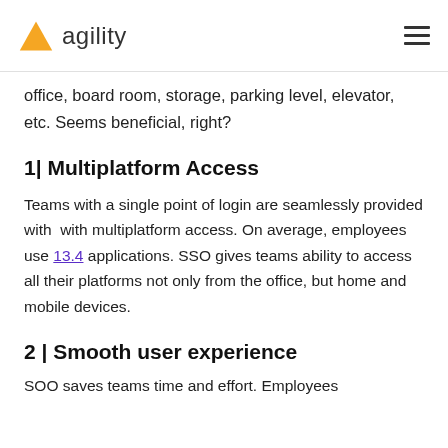agility
office, board room, storage, parking level, elevator, etc. Seems beneficial, right?
1| Multiplatform Access
Teams with a single point of login are seamlessly provided with  with multiplatform access. On average, employees use 13.4 applications. SSO gives teams ability to access all their platforms not only from the office, but home and mobile devices.
2 | Smooth user experience
SOO saves teams time and effort. Employees